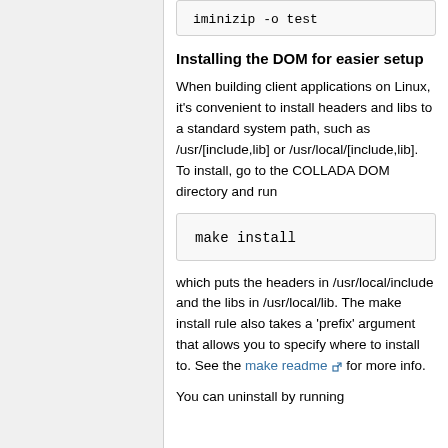iminizip -o test
Installing the DOM for easier setup
When building client applications on Linux, it's convenient to install headers and libs to a standard system path, such as /usr/[include,lib] or /usr/local/[include,lib]. To install, go to the COLLADA DOM directory and run
make install
which puts the headers in /usr/local/include and the libs in /usr/local/lib. The make install rule also takes a 'prefix' argument that allows you to specify where to install to. See the make readme for more info.
You can uninstall by running